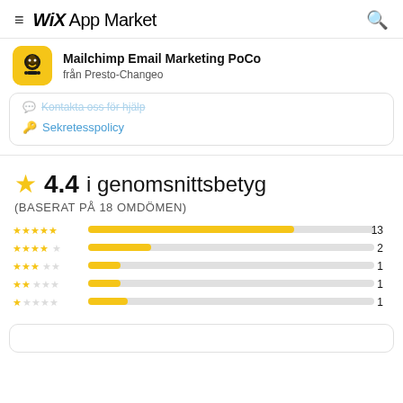WiX App Market
Mailchimp Email Marketing PoCo
från Presto-Changeo
Sekretesspolicy
4.4 i genomsnittsbetyg
(BASERAT PÅ 18 OMDÖMEN)
[Figure (bar-chart): Rating distribution]